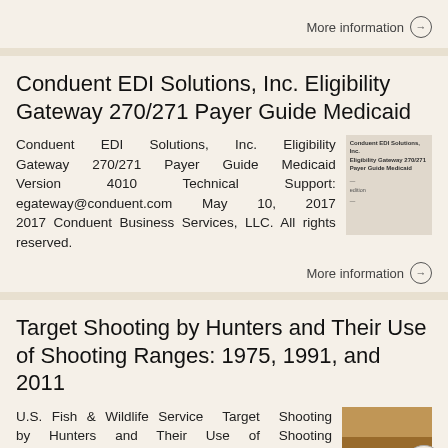More information →
Conduent EDI Solutions, Inc. Eligibility Gateway 270/271 Payer Guide Medicaid
Conduent EDI Solutions, Inc. Eligibility Gateway 270/271 Payer Guide Medicaid Version 4010 Technical Support: egateway@conduent.com May 10, 2017 2017 Conduent Business Services, LLC. All rights reserved.
More information →
Target Shooting by Hunters and Their Use of Shooting Ranges: 1975, 1991, and 2011
U.S. Fish & Wildlife Service Target Shooting by Hunters and Their Use of Shooting Ranges: 1975, 1991, and 2011 Addendum